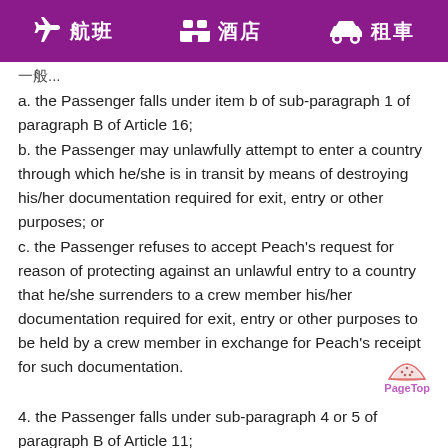航班  酒店  租車
a.
a. the Passenger falls under item b of sub-paragraph 1 of paragraph B of Article 16;
b. the Passenger may unlawfully attempt to enter a country through which he/she is in transit by means of destroying his/her documentation required for exit, entry or other purposes; or
c. the Passenger refuses to accept Peach's request for reason of protecting against an unlawful entry to a country that he/she surrenders to a crew member his/her documentation required for exit, entry or other purposes to be held by a crew member in exchange for Peach's receipt for such documentation.
4. the Passenger falls under sub-paragraph 4 or 5 of paragraph B of Article 11;
5. the Passenger or his/her conduct, age or mental or physical condition;